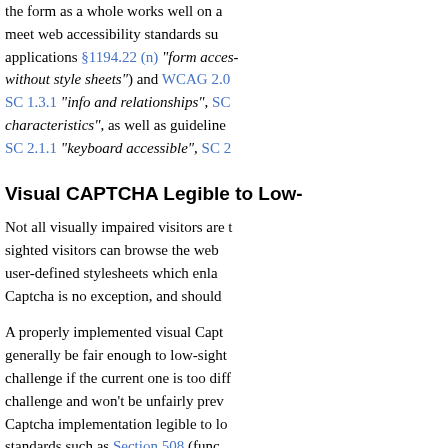the form as a whole works well on a... meet web accessibility standards su... applications §1194.22 (n) "form acces... without style sheets") and WCAG 2.0... SC 1.3.1 "info and relationships", SC... characteristics", as well as guideline... SC 2.1.1 "keyboard accessible", SC 2...
Visual CAPTCHA Legible to Low-...
Not all visually impaired visitors are t... sighted visitors can browse the web... user-defined stylesheets which enla... Captcha is no exception, and should...
A properly implemented visual Capt... generally be fair enough to low-sigh... challenge if the current one is too di... challenge and won't be unfairly prev... Captcha implementation legible to lo... standards such as Section 508 (func... vision").
People whose vision is bad are also... Captcha challenge or any animated... much time as they need to read the... other might take 30, and the Captc...